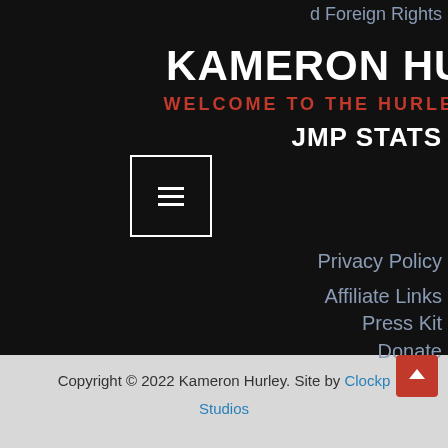d Foreign Rights
KAMERON HURLE
WELCOME TO THE HURLEYVE
JMP STATS
[Figure (other): Hamburger menu button icon (three horizontal lines) inside a white-bordered square on dark background]
Privacy Policy
Affiliate Links
Press Kit
Donate
Copyright © 2022 Kameron Hurley. Site by Clockp Studios